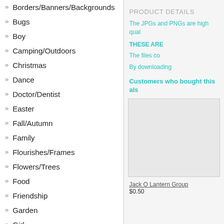» Borders/Banners/Backgrounds
» Bugs
» Boy
» Camping/Outdoors
» Christmas
» Dance
» Doctor/Dentist
» Easter
» Fall/Autumn
» Family
» Flourishes/Frames
» Flowers/Trees
» Food
» Friendship
» Garden
» Girl
» Halloween
» Kids
» Music
» New Year's
» Performance
» Phrases/Quotes
PRODUCT DETAILS
The JPGs and PNGs are high qual
THESE ARE
The files co
By downloading
Customers who bought this als
[Figure (photo): Product image placeholder box]
Jack O Lantern Group
$0.50